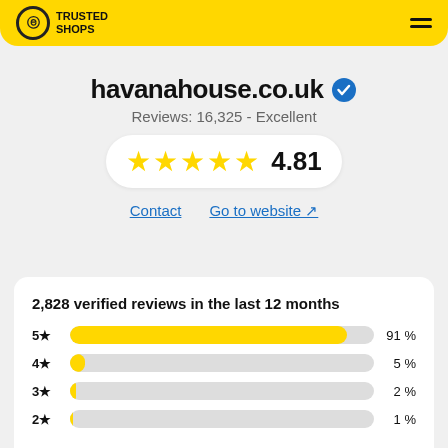[Figure (logo): Trusted Shops logo with yellow header bar and hamburger menu]
havanahouse.co.uk
Reviews: 16,325 - Excellent
[Figure (infographic): Five yellow stars rating display showing 4.81]
Contact   Go to website
2,828 verified reviews in the last 12 months
| Rating | Bar | Percentage |
| --- | --- | --- |
| 5★ |  | 91 % |
| 4★ |  | 5 % |
| 3★ |  | 2 % |
| 2★ |  | 1 % |